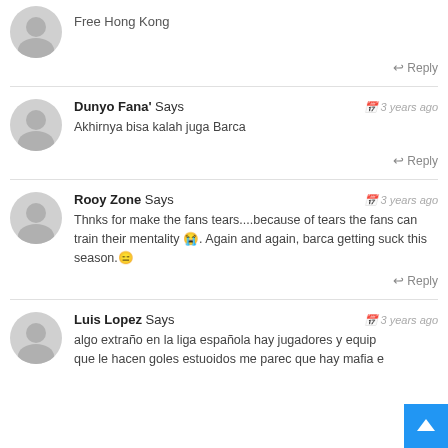Free Hong Kong
Reply
Dunyo Fana' Says  3 years ago
Akhirnya bisa kalah juga Barca
Reply
Rooy Zone Says  3 years ago
Thnks for make the fans tears....because of tears the fans can train their mentality 😭. Again and again, barca getting suck this season.😑
Reply
Luis Lopez Says  3 years ago
algo extraño en la liga española hay jugadores y equip...
que le hacen goles estuoidos me parec que hay mafia e...